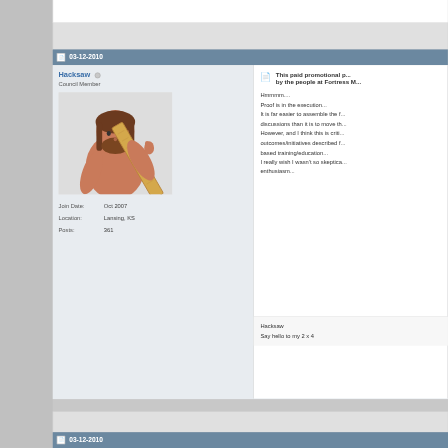03-12-2010
Hacksaw
Council Member
Join Date: Oct 2007
Location: Lansing, KS
Posts: 361
This paid promotional p... by the people at Fortress M...
Hmmmm....
Proof is in the execution...
It is far easier to assemble the f...
discussions than it is to move th...
However, and I think this is criti...
outcomes/initiatives described f...
based training/education...
I really wish I wasn't so skeptica...
enthusiasm...
Hacksaw
Say hello to my 2 x 4
03-12-2010